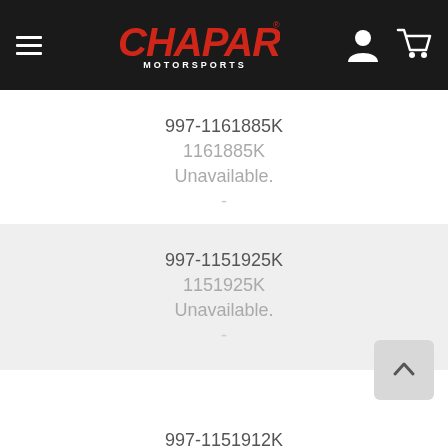Chaparral Motorsports
997-1161885K
1161885K
Unavailable.
-
997-1151925K
1151925K
Unavailable.
-
997-1151912K